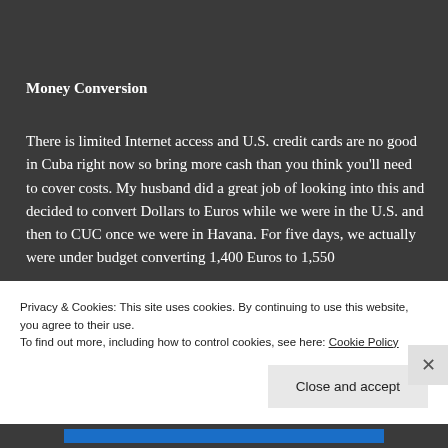Money Conversion
There is limited Internet access and U.S. credit cards are no good in Cuba right now so bring more cash than you think you’ll need to cover costs. My husband did a great job of looking into this and decided to convert Dollars to Euros while we were in the U.S. and then to CUC once we were in Havana. For five days, we actually were under budget converting 1,400 Euros to 1,550
Privacy & Cookies: This site uses cookies. By continuing to use this website, you agree to their use.
To find out more, including how to control cookies, see here: Cookie Policy
Close and accept